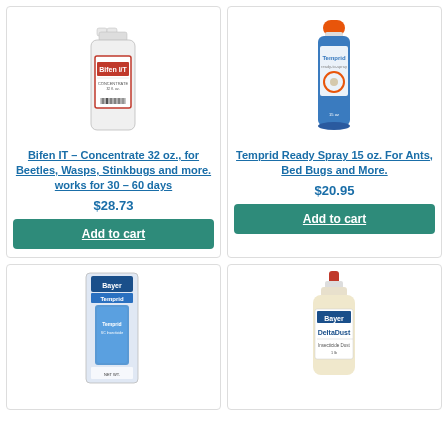[Figure (photo): Bifen I/T concentrate bottle, white plastic with red label]
Bifen IT – Concentrate 32 oz., for Beetles, Wasps, Stinkbugs and more. works for 30 – 60 days
$28.73
Add to cart
[Figure (photo): Temprid Ready Spray 15 oz aerosol can, blue and white with orange cap]
Temprid Ready Spray 15 oz. For Ants, Bed Bugs and More.
$20.95
Add to cart
[Figure (photo): Temprid product in blister package]
[Figure (photo): DeltaDust bottle, white plastic with red tip and Bayer DeltaDust label]